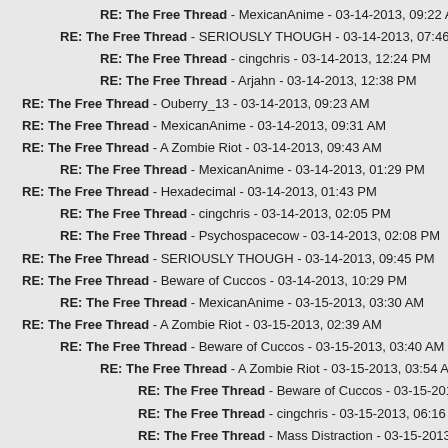RE: The Free Thread - MexicanAnime - 03-14-2013, 09:22 AM
RE: The Free Thread - SERIOUSLY THOUGH - 03-14-2013, 07:46 AM
RE: The Free Thread - cingchris - 03-14-2013, 12:24 PM
RE: The Free Thread - Arjahn - 03-14-2013, 12:38 PM
RE: The Free Thread - Ouberry_13 - 03-14-2013, 09:23 AM
RE: The Free Thread - MexicanAnime - 03-14-2013, 09:31 AM
RE: The Free Thread - A Zombie Riot - 03-14-2013, 09:43 AM
RE: The Free Thread - MexicanAnime - 03-14-2013, 01:29 PM
RE: The Free Thread - Hexadecimal - 03-14-2013, 01:43 PM
RE: The Free Thread - cingchris - 03-14-2013, 02:05 PM
RE: The Free Thread - Psychospacecow - 03-14-2013, 02:08 PM
RE: The Free Thread - SERIOUSLY THOUGH - 03-14-2013, 09:45 PM
RE: The Free Thread - Beware of Cuccos - 03-14-2013, 10:29 PM
RE: The Free Thread - MexicanAnime - 03-15-2013, 03:30 AM
RE: The Free Thread - A Zombie Riot - 03-15-2013, 02:39 AM
RE: The Free Thread - Beware of Cuccos - 03-15-2013, 03:40 AM
RE: The Free Thread - A Zombie Riot - 03-15-2013, 03:54 AM
RE: The Free Thread - Beware of Cuccos - 03-15-2013, 06:08 AM
RE: The Free Thread - cingchris - 03-15-2013, 06:16 AM
RE: The Free Thread - Mass Distraction - 03-15-2013, 11:25 PM
RE: The Free Thread - Arjahn - 03-15-2013, 06:52 AM
RE: The Free Thread - Hexadecimal - 03-15-2013, 09:50 AM
RE: The Free Thread - Psychospacecow - 03-15-2013, 09:55 AM
RE: The Free Thread - SERIOUSLY THOUGH - 03-15-2013, 10:10 AM
RE: The Free Thread - Psychospacecow - 03-15-2013, 08:19 AM